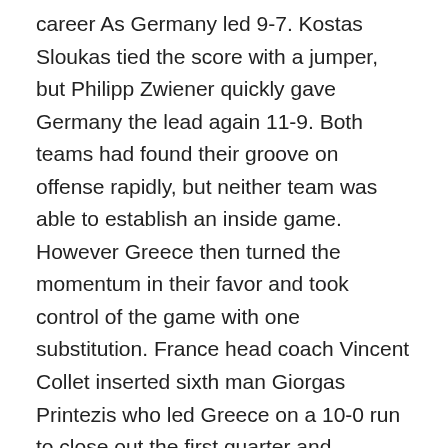career As Germany led 9-7. Kostas Sloukas tied the score with a jumper, but Philipp Zwiener quickly gave Germany the lead again 11-9. Both teams had found their groove on offense rapidly, but neither team was able to establish an inside game. However Greece then turned the momentum in their favor and took control of the game with one substitution. France head coach Vincent Collet inserted sixth man Giorgas Printezis who led Greece on a 10-0 run to close out the first quarter and Germany would never be able to recover again. The Greek 206cm forward who was drafted by the San Antonio Spurs and has played 117 Euroleague games scored back to back buckets and got to the free throw line. Ian Vougioukas also scored in the drive, but it was the bearded Printezis that got Greece into a strong offensive comfort zone and Germany had no answer on how to control him. “Printezis got Greece going.